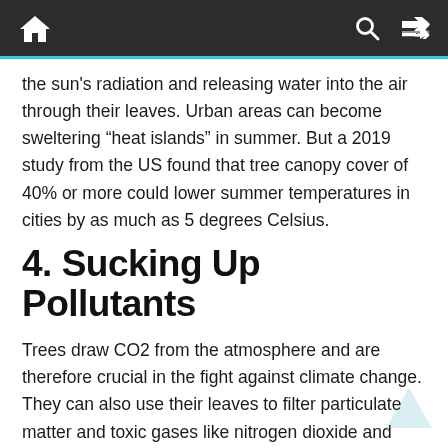Navigation bar with home, search, and shuffle icons
the sun's radiation and releasing water into the air through their leaves. Urban areas can become sweltering “heat islands” in summer. But a 2019 study from the US found that tree canopy cover of 40% or more could lower summer temperatures in cities by as much as 5 degrees Celsius.
4. Sucking Up Pollutants
Trees draw CO2 from the atmosphere and are therefore crucial in the fight against climate change. They can also use their leaves to filter particulate matter and toxic gases like nitrogen dioxide and sulphur dioxide from the air. A recent UK study found that silver birch, yew and elder trees could reduce particles at rates of 79%, 71% and 70%